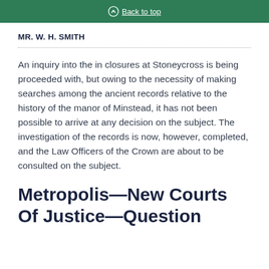Back to top
MR. W. H. SMITH
An inquiry into the in closures at Stoneycross is being proceeded with, but owing to the necessity of making searches among the ancient records relative to the history of the manor of Minstead, it has not been possible to arrive at any decision on the subject. The investigation of the records is now, however, completed, and the Law Officers of the Crown are about to be consulted on the subject.
Metropolis—New Courts Of Justice—Question